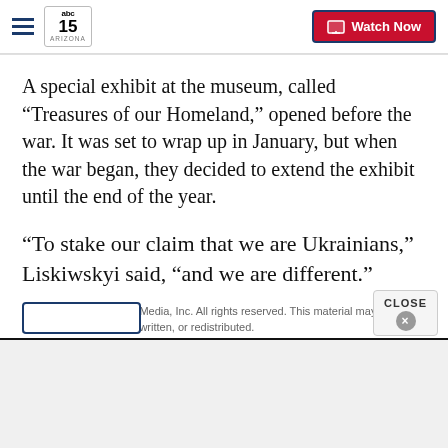abc15 ARIZONA — Watch Now
A special exhibit at the museum, called “Treasures of our Homeland,” opened before the war. It was set to wrap up in January, but when the war began, they decided to extend the exhibit until the end of the year.
“To stake our claim that we are Ukrainians,” Liskiwskyi said, “and we are different.”
Copyright 2022 Scripps Media, Inc. All rights reserved. This material may not be published, broadcast, rewritten, or redistributed.